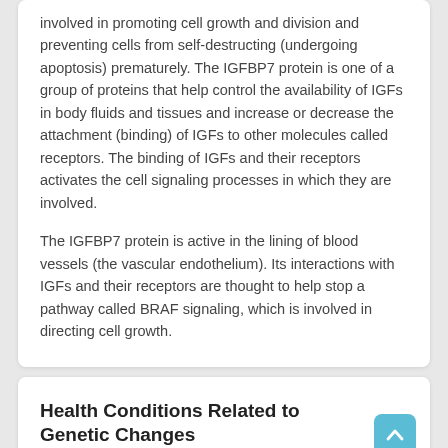involved in promoting cell growth and division and preventing cells from self-destructing (undergoing apoptosis) prematurely. The IGFBP7 protein is one of a group of proteins that help control the availability of IGFs in body fluids and tissues and increase or decrease the attachment (binding) of IGFs to other molecules called receptors. The binding of IGFs and their receptors activates the cell signaling processes in which they are involved.
The IGFBP7 protein is active in the lining of blood vessels (the vascular endothelium). Its interactions with IGFs and their receptors are thought to help stop a pathway called BRAF signaling, which is involved in directing cell growth.
Health Conditions Related to Genetic Changes
Other Names for This G...